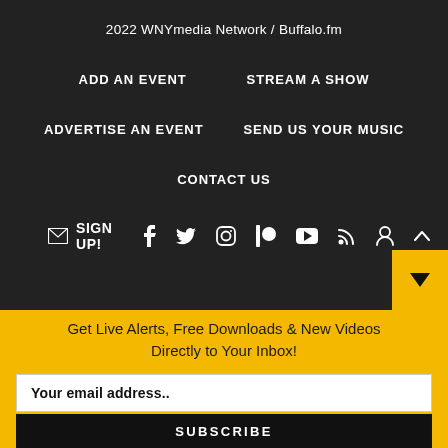2022 WNYmedia Network / Buffalo.fm
ADD AN EVENT
STREAM A SHOW
ADVERTISE AN EVENT
SEND US YOUR MUSIC
CONTACT US
SIGN UP!
Get Live Alerts, Free Downloads & New Videos Directly to Your Inbox!
Your email address..
SUBSCRIBE